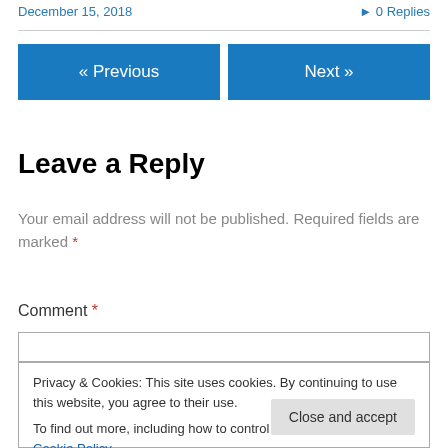December 15, 2018
▸ 0 Replies
« Previous
Next »
Leave a Reply
Your email address will not be published. Required fields are marked *
Comment *
Privacy & Cookies: This site uses cookies. By continuing to use this website, you agree to their use.
To find out more, including how to control cookies, see here: Cookie Policy
Close and accept